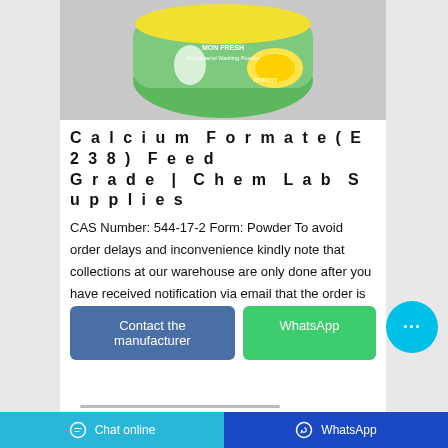[Figure (photo): Product photo of a yellow and green lemon-scented washing powder bag (Mon Fresh brand), shown against a grey background.]
Calcium Formate(E238) Feed Grade | Chem Lab Supplies
CAS Number: 544-17-2 Form: Powder To avoid order delays and inconvenience kindly note that collections at our warehouse are only done after you have received notification via email that the order is ready for collection.
Contact the manufacturer
WhatsApp
Chat online   WhatsApp